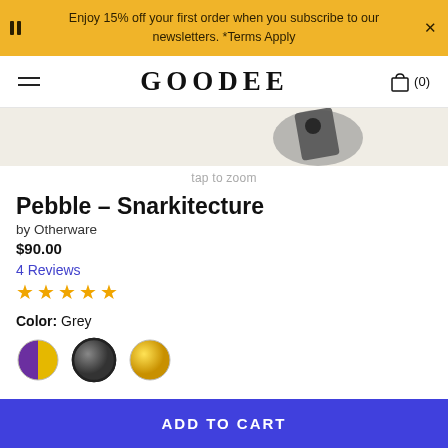Enjoy 15% off your first order when you subscribe to our newsletters. *Terms Apply
GOODEE
[Figure (photo): Product image partially visible at top, dark object on beige background]
tap to zoom
Pebble – Snarkitecture
by Otherware
$90.00
4 Reviews
★★★★★
Color: Grey
[Figure (illustration): Three color swatches: yellow/purple split, dark grey, yellow]
ADD TO CART